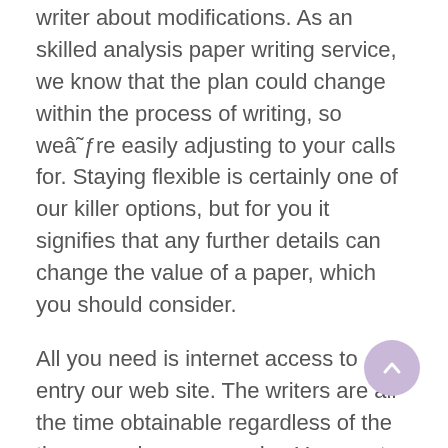writer about modifications. As an skilled analysis paper writing service, we know that the plan could change within the process of writing, so weâre easily adjusting to your calls for. Staying flexible is certainly one of our killer options, but for you it signifies that any further details can change the value of a paper, which you should consider.
All you need is internet access to entry our web site. The writers are all the time obtainable regardless of the time you place your order. You must know how to communicate your factors to demonstrate that you understand the topic. This was the primary time I used professional writing help and I am 100% satisfied with the results. Quality service includes the option of with the ability to talk with a writer.
Copyright and the high proportion of plagiarism are the most urgent points inside the framework of this subject. The most ...
[Figure (other): Circular scroll-to-top button with upward arrow, light purple/lavender color, positioned at bottom right]